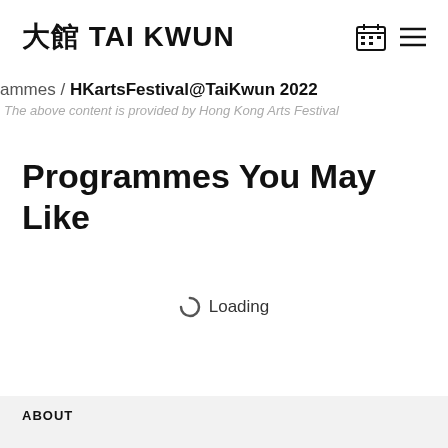大館 TAI KWUN
ammes / HKartsFestival@TaiKwun 2022
The above content is provided by Hong Kong Arts Festival
Programmes You May Like
Loading
ABOUT